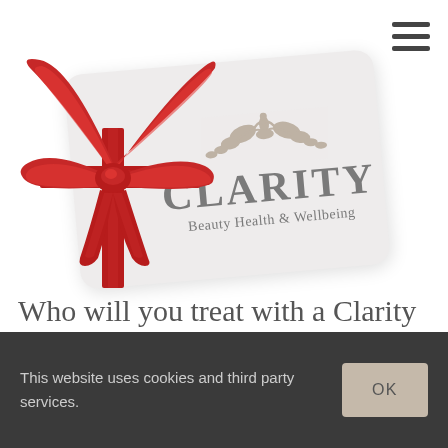[Figure (illustration): A gift card for Clarity Beauty Health & Wellbeing shown at a slight angle, decorated with a large red ribbon bow on the left side. The card is light grey/white with rounded corners, featuring ornamental scrollwork at the top, the word CLARITY in large grey letters, and the tagline Beauty Health & Wellbeing below.]
Who will you treat with a Clarity
This website uses cookies and third party services.
OK